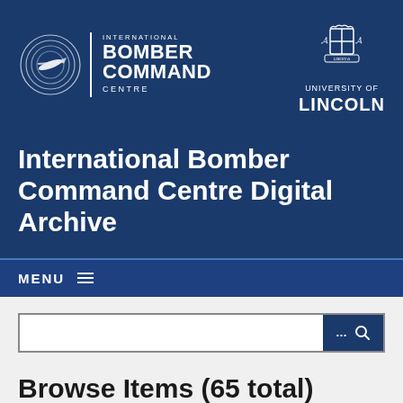[Figure (logo): International Bomber Command Centre logo with circular aircraft emblem and text, plus University of Lincoln crest]
International Bomber Command Centre Digital Archive
MENU
[Figure (screenshot): Search bar with ellipsis and magnifying glass search button]
Browse Items (65 total)